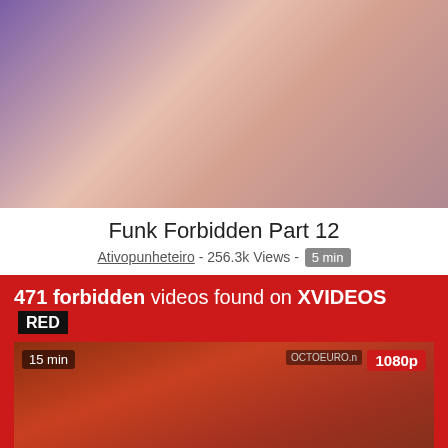[Figure (photo): Video thumbnail showing a young woman in a white shirt sitting on a purple couch]
Funk Forbidden Part 12
Ativopunheteiro - 256.3k Views - 5 min
[Figure (screenshot): XVIDEOS RED banner showing '471 forbidden videos found on XVIDEOS RED' with a video thumbnail below showing 15 min duration and 1080p quality badge]